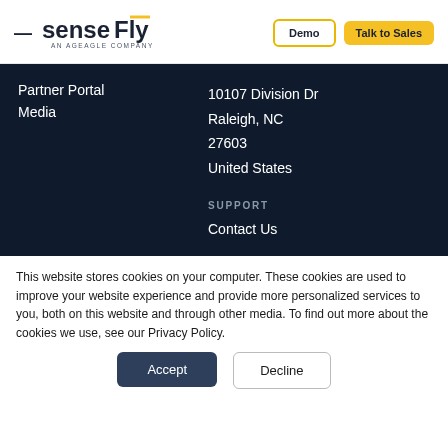[Figure (logo): senseFly – An AgEagle Company logo with yellow accent mark]
Demo
Talk to Sales
Partner Portal
Media
10107 Division Dr
Raleigh, NC
27603
United States
SUPPORT
Contact Us
This website stores cookies on your computer. These cookies are used to improve your website experience and provide more personalized services to you, both on this website and through other media. To find out more about the cookies we use, see our Privacy Policy.
Accept
Decline